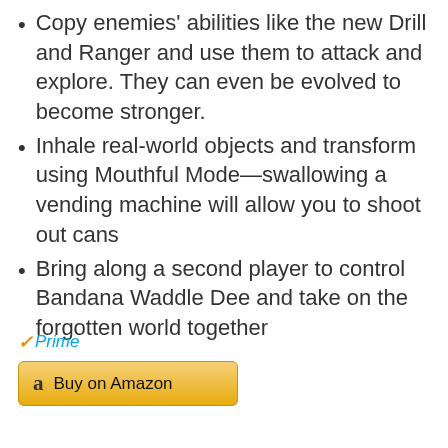Copy enemies' abilities like the new Drill and Ranger and use them to attack and explore. They can even be evolved to become stronger.
Inhale real-world objects and transform using Mouthful Mode—swallowing a vending machine will allow you to shoot out cans
Bring along a second player to control Bandana Waddle Dee and take on the forgotten world together
[Figure (logo): Amazon Prime logo with checkmark and 'Prime' in blue italic text, followed by a yellow 'Buy on Amazon' button with Amazon 'a' logo]